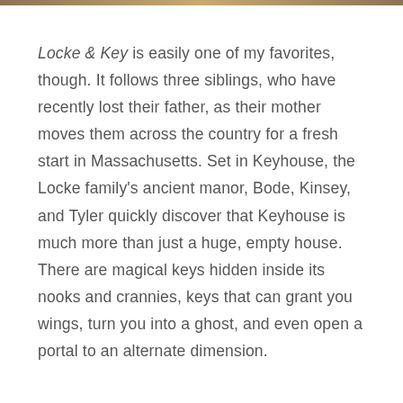Locke & Key is easily one of my favorites, though. It follows three siblings, who have recently lost their father, as their mother moves them across the country for a fresh start in Massachusetts. Set in Keyhouse, the Locke family's ancient manor, Bode, Kinsey, and Tyler quickly discover that Keyhouse is much more than just a huge, empty house. There are magical keys hidden inside its nooks and crannies, keys that can grant you wings, turn you into a ghost, and even open a portal to an alternate dimension.